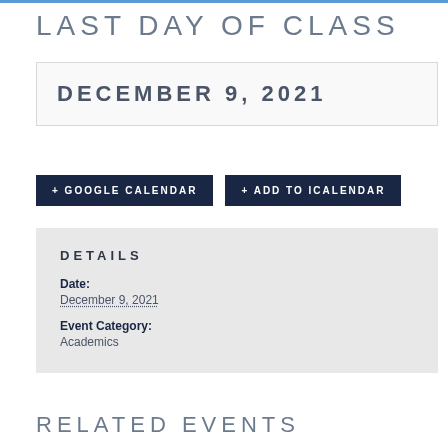LAST DAY OF CLASS
DECEMBER 9, 2021
+ GOOGLE CALENDAR
+ ADD TO ICALENDAR
DETAILS
Date:
December 9, 2021
Event Category:
Academics
RELATED EVENTS